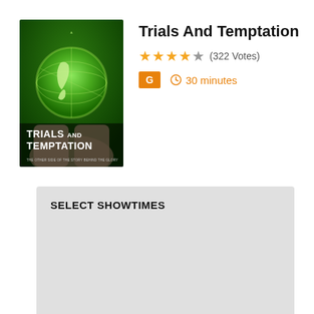[Figure (illustration): Movie poster for 'Trials And Temptation' showing hands holding a green glowing Earth globe, with the movie title 'TRIALS AND TEMPTATION' and tagline 'THE OTHER SIDE OF THE STORY BEHIND THE GLORY' at the bottom.]
Trials And Temptation
★★★★☆ (322 Votes)
G  🕐 30 minutes
SELECT SHOWTIMES